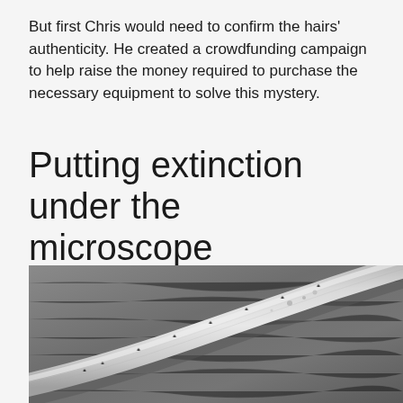But first Chris would need to confirm the hairs' authenticity. He created a crowdfunding campaign to help raise the money required to purchase the necessary equipment to solve this mystery.
Putting extinction under the microscope
[Figure (photo): Microscope image of a hair shaft shown in grayscale, likely a scanning electron microscope (SEM) image. The hair appears as a cylindrical strand running diagonally across the frame, with visible surface texture and some particles on it, against a textured gray background.]